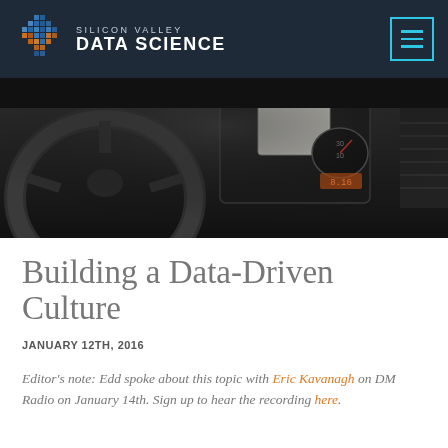SILICON VALLEY DATA SCIENCE
[Figure (photo): Car dashboard interior showing steering wheel, instrument cluster with speedometer and gauges, and a navigation/display screen, photographed from driver perspective]
Building a Data-Driven Culture
JANUARY 12TH, 2016
Editor's note: Edd spoke about this topic with Eric Kavanagh on DM Radio on January 14th. Sign up to hear the recording here.